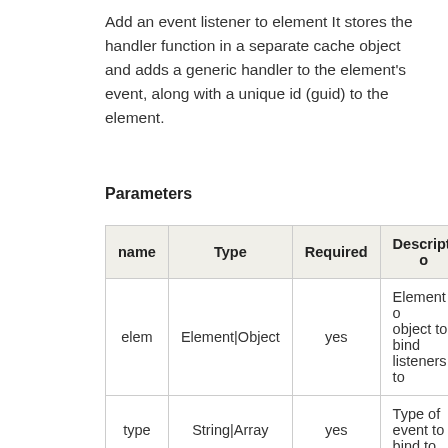Add an event listener to element It stores the handler function in a separate cache object and adds a generic handler to the element's event, along with a unique id (guid) to the element.
Parameters
| name | Type | Required | Description |
| --- | --- | --- | --- |
| elem | Element|Object | yes | Element or object to bind listeners to |
| type | String|Array | yes | Type of event to bind to. |
| fn | function | yes | Event listener. |